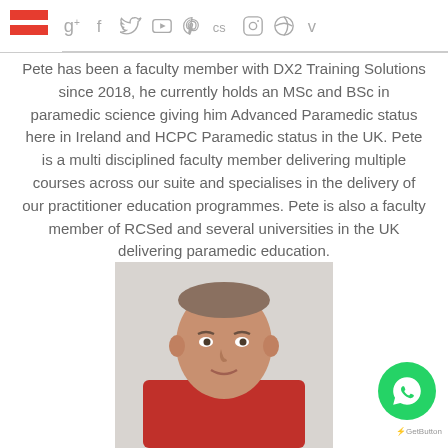Navigation and social media icon bar
Pete has been a faculty member with DX2 Training Solutions since 2018, he currently holds an MSc and BSc in paramedic science giving him Advanced Paramedic status here in Ireland and HCPC Paramedic status in the UK. Pete is a multi disciplined faculty member delivering multiple courses across our suite and specialises in the delivery of our practitioner education programmes. Pete is also a faculty member of RCSed and several universities in the UK delivering paramedic education.
[Figure (photo): Headshot photo of Pete, a man wearing a red shirt, with short hair, photographed against a light background.]